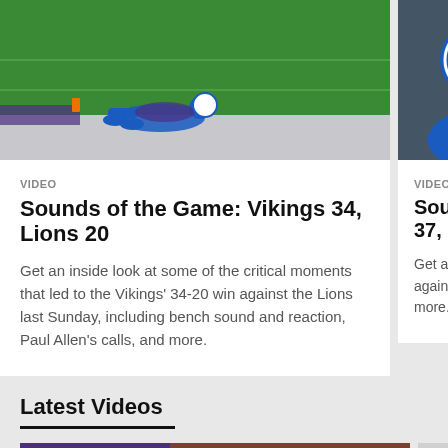[Figure (photo): Football player diving towards end zone pylon on turf, Vikings vs Lions game action]
VIDEO
Sounds of the Game: Vikings 34, Lions 20
Get an inside look at some of the critical moments that led to the Vikings' 34-20 win against the Lions last Sunday, including bench sound and reaction, Paul Allen's calls, and more.
[Figure (photo): Lions player in blue helmet on sideline, partial view]
VIDEO
Sounds of the Game: [score] 37, Lions [score]
Get an inside look at some of the critical moments that against the Lions last Sunday, including bench sound and reaction, more.
Latest Videos
[Figure (photo): TV studio set with Minnesota Vikings branding, multiple hosts and analysts sitting at desk discussing football]
[Figure (photo): Person in white shirt, partial view, right side]